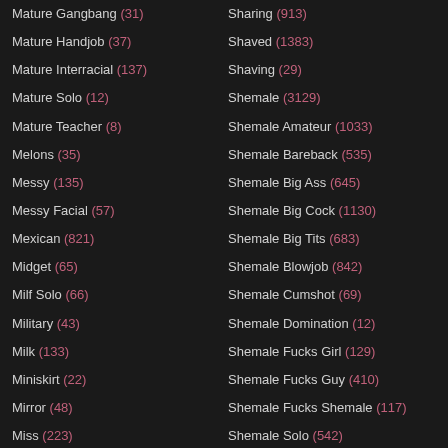Mature Gangbang (31)
Mature Handjob (37)
Mature Interracial (137)
Mature Solo (12)
Mature Teacher (8)
Melons (35)
Messy (135)
Messy Facial (57)
Mexican (821)
Midget (65)
Milf Solo (66)
Military (43)
Milk (133)
Miniskirt (22)
Mirror (48)
Miss (223)
Sharing (913)
Shaved (1383)
Shaving (29)
Shemale (3129)
Shemale Amateur (1033)
Shemale Bareback (535)
Shemale Big Ass (645)
Shemale Big Cock (1130)
Shemale Big Tits (683)
Shemale Blowjob (842)
Shemale Cumshot (69)
Shemale Domination (12)
Shemale Fucks Girl (129)
Shemale Fucks Guy (410)
Shemale Fucks Shemale (117)
Shemale Solo (542)